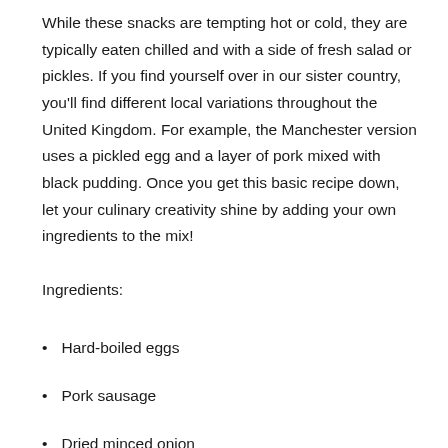While these snacks are tempting hot or cold, they are typically eaten chilled and with a side of fresh salad or pickles. If you find yourself over in our sister country, you'll find different local variations throughout the United Kingdom. For example, the Manchester version uses a pickled egg and a layer of pork mixed with black pudding. Once you get this basic recipe down, let your culinary creativity shine by adding your own ingredients to the mix!
Ingredients:
Hard-boiled eggs
Pork sausage
Dried minced onion